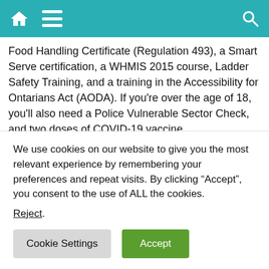[Figure (screenshot): Teal/green navigation header bar with home icon, hamburger menu icon on the left, and search icon on the right]
Food Handling Certificate (Regulation 493), a Smart Serve certification, a WHMIS 2015 course, Ladder Safety Training, and a training in the Accessibility for Ontarians Act (AODA). If you're over the age of 18, you'll also need a Police Vulnerable Sector Check, and two doses of COVID-19 vaccine.
A qualified dishroom attendant will ensure that the kitchen prep area is clean during food production. Any spills or stains must be cleaned immediately. All equipment must be clean every day. The dish room
We use cookies on our website to give you the most relevant experience by remembering your preferences and repeat visits. By clicking “Accept”, you consent to the use of ALL the cookies.
Reject.
Cookie Settings | Accept